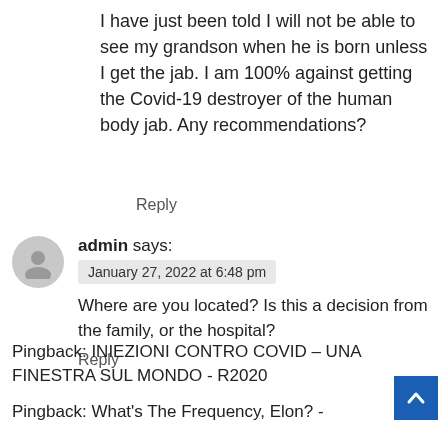I have just been told I will not be able to see my grandson when he is born unless I get the jab. I am 100% against getting the Covid-19 destroyer of the human body jab. Any recommendations?
Reply
admin says:
January 27, 2022 at 6:48 pm
Where are you located? Is this a decision from the family, or the hospital?
Reply
Pingback: INIEZIONI CONTRO COVID – UNA FINESTRA SUL MONDO - R2020
Pingback: What's The Frequency, Elon? -